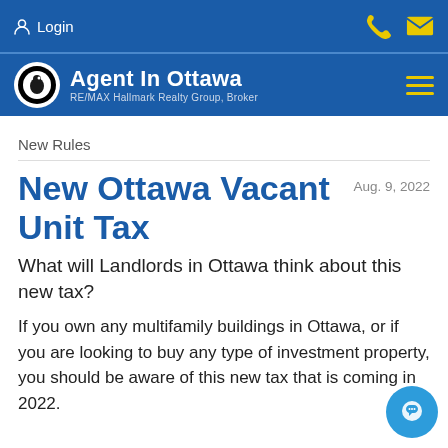Login | Agent In Ottawa RE/MAX Hallmark Realty Group, Broker
New Rules
New Ottawa Vacant Unit Tax
Aug. 9, 2022
What will Landlords in Ottawa think about this new tax?
If you own any multifamily buildings in Ottawa, or if you are looking to buy any type of investment property, you should be aware of this new tax that is coming in 2022.